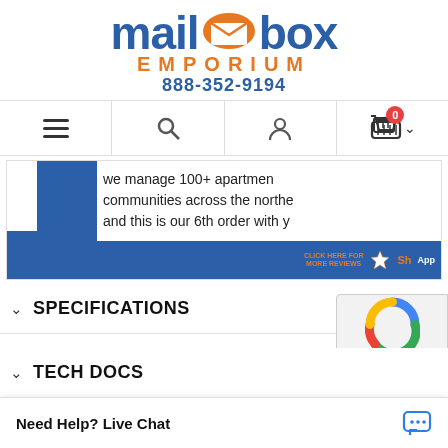[Figure (logo): Mailbox Emporium logo with blue mailbox text, orange envelope icon, orange EMPORIUM text, and blue phone number 888-352-9194]
[Figure (screenshot): Navigation bar with hamburger menu, search icon, user icon, and shopping cart with badge 0]
we manage 100+ apartment communities across the northe and this is our 6th order with y
[Figure (screenshot): Blue review card with CLICK HERE FOR MORE REVIEWS and ShopperApproved star logo]
SPECIFICATIONS
PRODUCT LITERATURE
TECH DOCS
Need Help? Live Chat